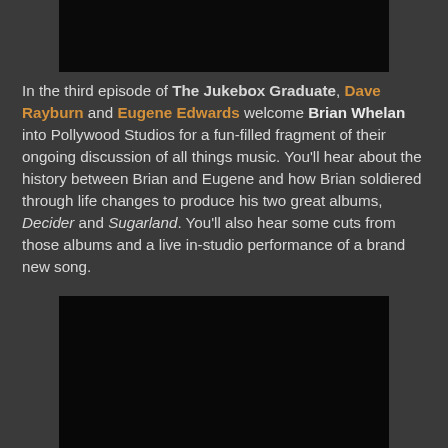[Figure (photo): Dark/black video thumbnail at top, centered]
In the third episode of The Jukebox Graduate, Dave Rayburn and Eugene Edwards welcome Brian Whelan into Pollywood Studios for a fun-filled fragment of their ongoing discussion of all things music. You'll hear about the history between Brian and Eugene and how Brian soldiered through life changes to produce his two great albums, Decider and Sugarland. You'll also hear some cuts from those albums and a live in-studio performance of a brand new song.
[Figure (photo): Dark/black video thumbnail at bottom, centered]